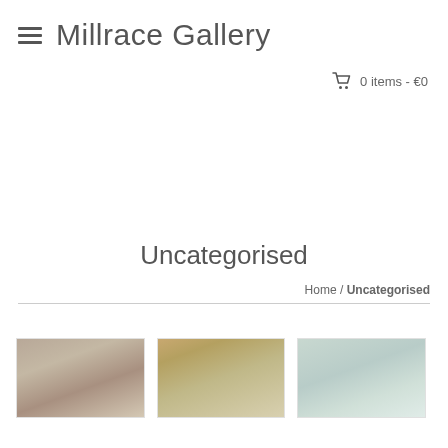Millrace Gallery
0 items - €0
Uncategorised
Home / Uncategorised
[Figure (photo): Three painting thumbnails in a product grid: first is a warm-toned still life, second is a framed landscape painting, third is a pale blue-green artwork.]